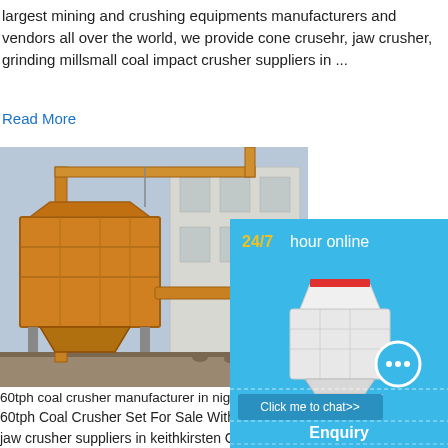largest mining and crushing equipments manufacturers and vendors all over the world, we provide cone crusehr, jaw crusher, grinding millsmall coal impact crusher suppliers in ...
Read More
[Figure (photo): Photo of a yellow mining/crushing machine (impact crusher) on a construction site with a crane arm, building in background]
60tph coal crusher manufacturer in nigeria
60tph Coal Crusher Set For Sale With Cost jaw crusher suppliers in keithkirsten Co Za crushers manufacturer supplier wholesaler of coal crusher manufacturers suppliers and e offering premium grade coal type jaw crush customers With the industry set standards t commonly used...
Read More
[Figure (infographic): Blue side panel with '24/7 hour online' text, white industrial crusher machine illustration, chat bubble icon, 'Click me to chat>>' button, 'Enquiry' text, and 'limingjlmofen' text]